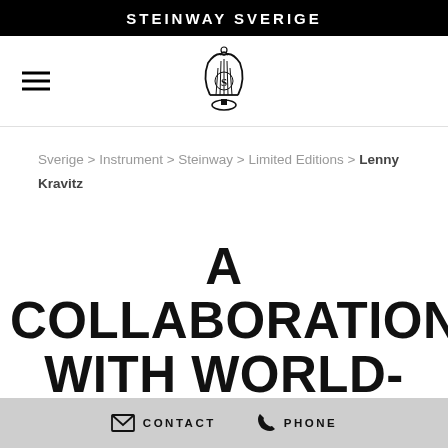STEINWAY SVERIGE
[Figure (logo): Steinway & Sons lyre logo emblem in black]
Sverige > Instrument > Steinway > Limited Editions > Lenny Kravitz
A COLLABORATION WITH WORLD-RENOWNED MUSICIAN AND MODERN-DAY
CONTACT   PHONE